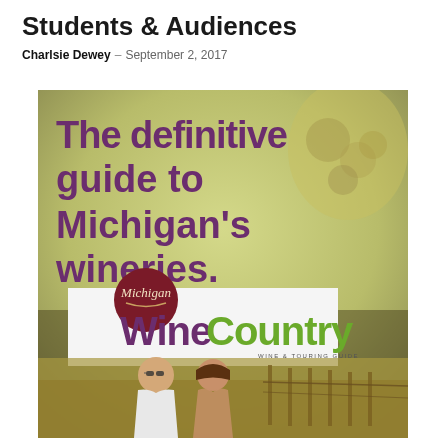Students & Audiences
Charlsie Dewey – September 2, 2017
[Figure (photo): Cover of Michigan Wine Country Wine & Touring Guide magazine showing large purple bold text reading 'The definitive guide to Michigan's wineries.' over a blurred vineyard background, with the Michigan WineCountry logo featuring a burgundy circle with 'Michigan' script text, and a couple standing in a vineyard at the bottom.]